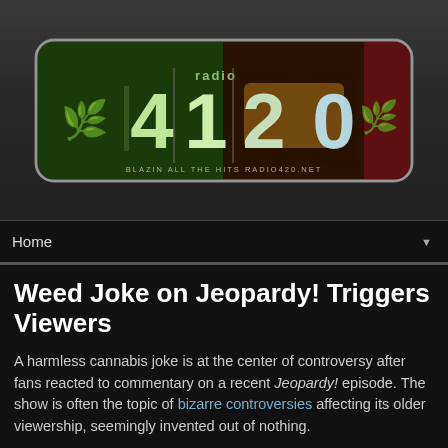[Figure (logo): Radio 420 logo — stylized '420' lettering in green/white on a dark green and red cannabis-leaf themed background, with 'radio' text above and tagline below reading 'BLAZIN ALL THE HITS RADIO420.NET']
Home
Weed Joke on Jeopardy! Triggers Viewers
A harmless cannabis joke is at the center of controversy after fans reacted to commentary on a recent Jeopardy! episode. The show is often the topic of bizarre controversies affecting its older viewership, seemingly invented out of nothing.
According to Mario Phillips, who is a recent...